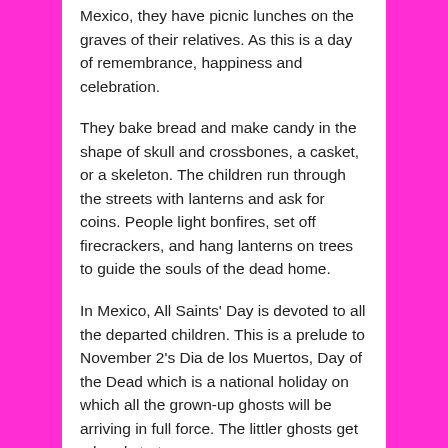Mexico, they have picnic lunches on the graves of their relatives. As this is a day of remembrance, happiness and celebration.
They bake bread and make candy in the shape of skull and crossbones, a casket, or a skeleton. The children run through the streets with lanterns and ask for coins. People light bonfires, set off firecrackers, and hang lanterns on trees to guide the souls of the dead home.
In Mexico, All Saints' Day is devoted to all the departed children. This is a prelude to November 2's Dia de los Muertos, Day of the Dead which is a national holiday on which all the grown-up ghosts will be arriving in full force. The littler ghosts get a head start.
To help them find their way back to the homes where they once lived, parents and still alive family members often shoot off firecrackers. In some parts of Mexico on this night, they strew a path of flower petals from the graveyard to the front porch. Mexico's Day of the Dead calls for happy all day picnics beside the graves of dead